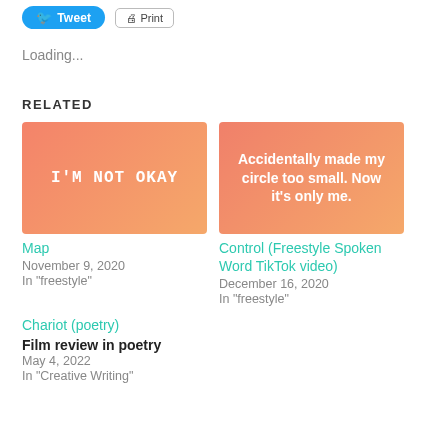[Figure (screenshot): Tweet button (blue rounded) and Print button (outlined) at top of page]
Loading...
RELATED
[Figure (illustration): Orange-pink gradient card with white monospace text reading I'M NOT OKAY]
Map
November 9, 2020
In "freestyle"
[Figure (illustration): Orange-pink gradient card with white bold text: Accidentally made my circle too small. Now it's only me.]
Control (Freestyle Spoken Word TikTok video)
December 16, 2020
In "freestyle"
Chariot (poetry)
Film review in poetry
May 4, 2022
In "Creative Writing"